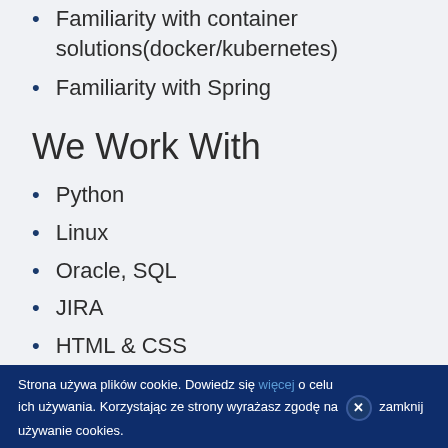Familiarity with container solutions(docker/kubernetes)
Familiarity with Spring
We Work With
Python
Linux
Oracle, SQL
JIRA
HTML & CSS
Strona używa plików cookie. Dowiedz się więcej o celu ich używania. Korzystając ze strony wyrażasz zgodę na zamknij używanie cookies.